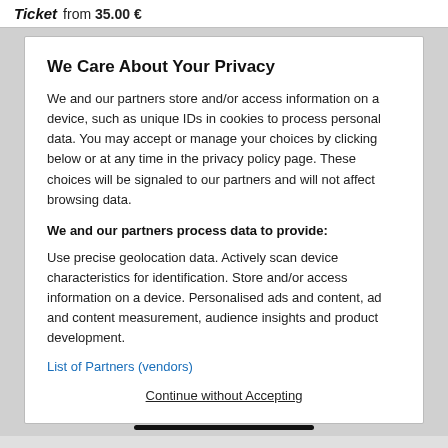Ticket from 35.00 €
We Care About Your Privacy
We and our partners store and/or access information on a device, such as unique IDs in cookies to process personal data. You may accept or manage your choices by clicking below or at any time in the privacy policy page. These choices will be signaled to our partners and will not affect browsing data.
We and our partners process data to provide:
Use precise geolocation data. Actively scan device characteristics for identification. Store and/or access information on a device. Personalised ads and content, ad and content measurement, audience insights and product development.
List of Partners (vendors)
Continue without Accepting